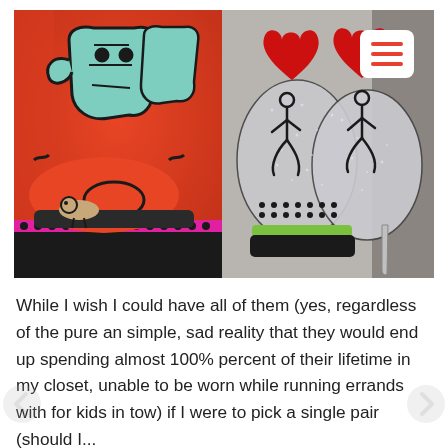[Figure (photo): Two pairs of artistic high-heel shoes. Left pair: orange peep-toe platform heels with Keith Haring-style graffiti art featuring teal/green Chinese characters and black cartoon figures, with pink dotted trim at the base. Right pair: silver glitter open-toe stiletto heels decorated with Keith Haring figures in black outline holding a red glittered heart, on a black platform with green sole. A white rounded-rectangle hamburger menu icon with red lines appears in the top-right corner.]
While I wish I could have all of them (yes, regardless of the pure an simple, sad reality that they would end up spending almost 100% percent of their lifetime in my closet, unable to be worn while running errands with for kids in tow) if I were to pick a single pair (should I...